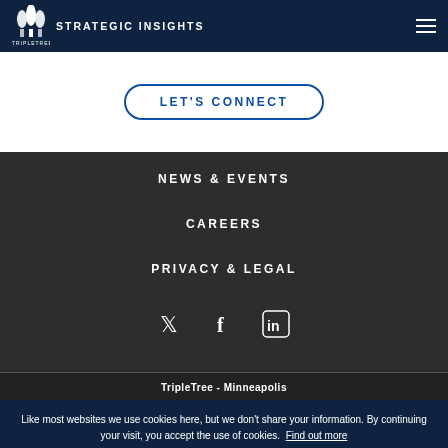STRATEGIC INSIGHTS
LET'S CONNECT
NEWS & EVENTS
CAREERS
PRIVACY & LEGAL
[Figure (illustration): Social media icons: Twitter, Facebook, LinkedIn]
TripleTree - Minneapolis
Like most websites we use cookies here, but we don't share your information. By continuing your visit, you accept the use of cookies. Find out more